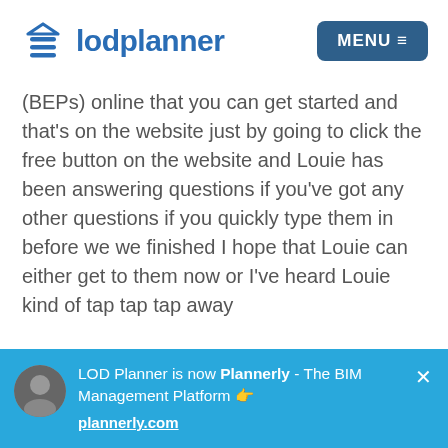[Figure (logo): LOD Planner logo with stylized stacked lines icon and blue text 'lodplanner', plus a 'MENU ≡' button on the right]
(BEPs) online that you can get started and that's on the website just by going to click the free button on the website and Louie has been answering questions if you've got any other questions if you quickly type them in before we we finished I hope that Louie can either get to them now or I've heard Louie kind of tap tap tap away
LOD Planner is now Plannerly - The BIM Management Platform 👉
plannerly.com